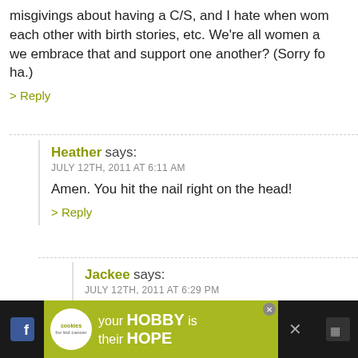misgivings about having a C/S, and I hate when women scare each other with birth stories, etc. We're all women and can't we embrace that and support one another? (Sorry for the rant, ha.)
> Reply
Heather says:
JULY 12TH, 2011 AT 6:11 AM
Amen. You hit the nail right on the head!
> Reply
Jackee says:
JULY 12TH, 2011 AT 6:29 PM
What a perfect response Laura! I agree completely
> Reply
41. Laura says:
JULY 12TH, 2011 AT 5:52 AM
[Figure (infographic): Advertisement banner: cookies for kid cancer charity ad with 'your HOBBY is their HOPE' text on green/dark background]